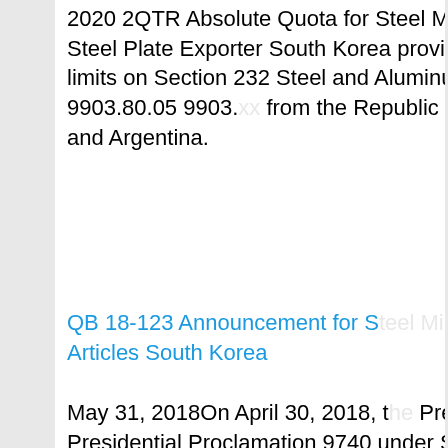2020 2QTR Absolute Quota for Steel Mill Articles Stainless Steel Plate Exporter South Korea provided for quarterly limits on Section 232 Steel and Aluminum commodities of 9903.80.05 9903... from the Republic of South Korea and Argentina.
[Figure (illustration): Advertisement banner with '7X24 Online' header in dark navy background, photo of a woman with headset smiling, and 'Hello, may I help you?' text with a 'Get Latest Price' yellow button at the bottom]
QB 18-123 Announcement for S... Articles South Korea
May 31, 2018On April 30, 2018, the President issued Presidential Proclamation 9740 under Section 232 of the Trade Expansion Act of 1962 providing for an absolute quota for imports of steel mill products from South Korea, effective for goods entered for consumption, or withdrawn from